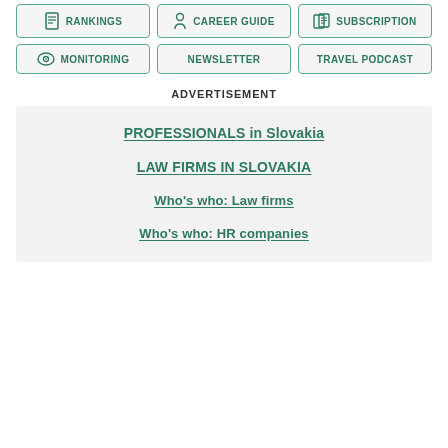RANKINGS
CAREER GUIDE
SUBSCRIPTION
MONITORING
NEWSLETTER
TRAVEL PODCAST
ADVERTISEMENT
PROFESSIONALS in Slovakia
LAW FIRMS IN SLOVAKIA
Who's who: Law firms
Who's who: HR companies